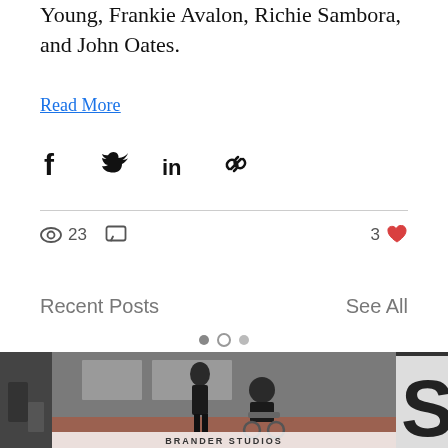Young, Frankie Avalon, Richie Sambora, and John Oates.
Read More
[Figure (other): Social sharing icons: Facebook, Twitter, LinkedIn, link/chain]
[Figure (other): Stats row: 23 views icon, comment icon, 3 heart/likes icon]
Recent Posts
See All
[Figure (photo): Three post thumbnails: left partial dark image, center photo of two people (a woman standing and a man in a wheelchair, both in black clothes, outdoors), right partial image with large letter S. Below center image partial text: BRANDER STUDIOS]